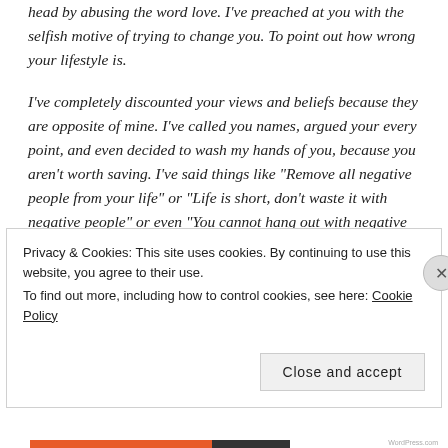head by abusing the word love. I've preached at you with the selfish motive of trying to change you. To point out how wrong your lifestyle is.
I've completely discounted your views and beliefs because they are opposite of mine. I've called you names, argued your every point, and even decided to wash my hands of you, because you aren't worth saving. I've said things like "Remove all negative people from your life" or "Life is short, don't waste it with negative people" or even "You cannot hang out with negative people and expect to live a positive life." Thankfully,
Privacy & Cookies: This site uses cookies. By continuing to use this website, you agree to their use.
To find out more, including how to control cookies, see here: Cookie Policy